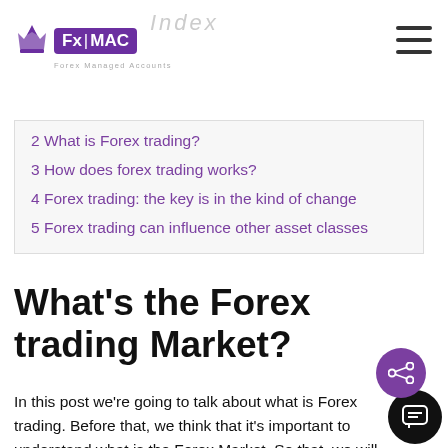FxMAC Forex Managed Accounts
2 What is Forex trading?
3 How does forex trading works?
4 Forex trading: the key is in the kind of change
5 Forex trading can influence other asset classes
What's the Forex trading Market?
In this post we're going to talk about what is Forex trading. Before that, we think that it's important to understand what is the Forex Market. So that, we will make an easy explanation about what is the Forex Market and its financial operations.